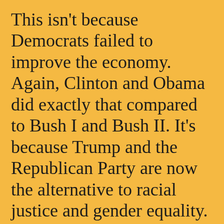This isn't because Democrats failed to improve the economy. Again, Clinton and Obama did exactly that compared to Bush I and Bush II. It's because Trump and the Republican Party are now the alternative to racial justice and gender equality. They are the party of resentment. Anything resembling wokeness or social justice or cancel culture on that